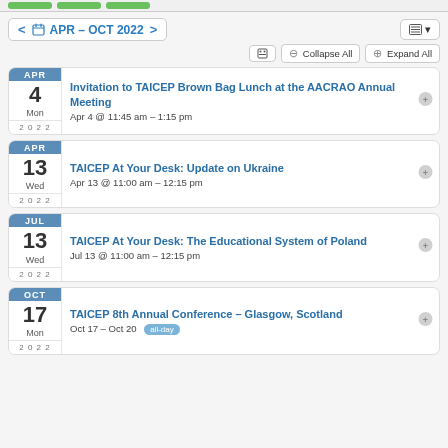APR – OCT 2022
Invitation to TAICEP Brown Bag Lunch at the AACRAO Annual Meeting
Apr 4 @ 11:45 am – 1:15 pm
TAICEP At Your Desk: Update on Ukraine
Apr 13 @ 11:00 am – 12:15 pm
TAICEP At Your Desk: The Educational System of Poland
Jul 13 @ 11:00 am – 12:15 pm
TAICEP 8th Annual Conference – Glasgow, Scotland
Oct 17 – Oct 20  all-day